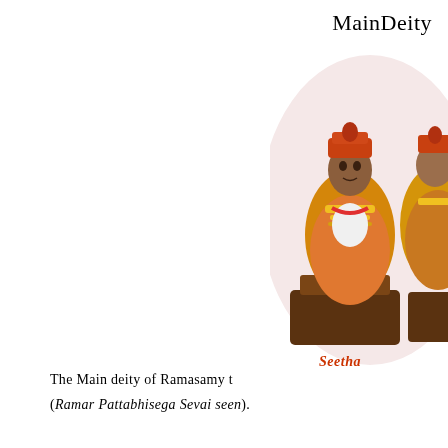MainDeity
[Figure (photo): Colorful Hindu deity figurines dressed in ornate golden and orange attire, seated together. A label in red/orange text reads 'Seetha' below the central figure.]
The Main deity of Ramasamy t
(Ramar Pattabhisega Sevai seen).